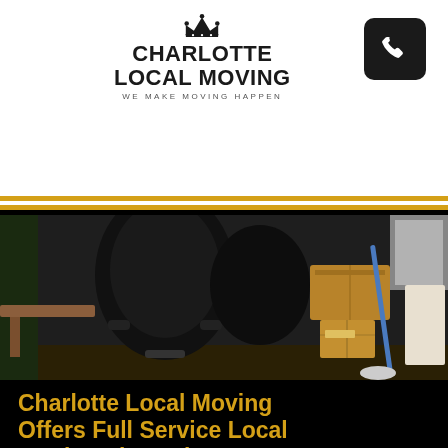[Figure (logo): Charlotte Local Moving logo with crown icon, bold text 'CHARLOTTE LOCAL MOVING' and tagline 'WE MAKE MOVING HAPPEN']
[Figure (other): Black phone icon button in dark rounded square, top right corner]
[Figure (other): Orange rounded rectangle button with white bold text 'Get Estimate Now']
[Figure (photo): Indoor photo showing black office chairs, cardboard moving boxes, a broom, and a wooden desk in a dim room]
Charlotte Local Moving Offers Full Service Local Moving Through Out